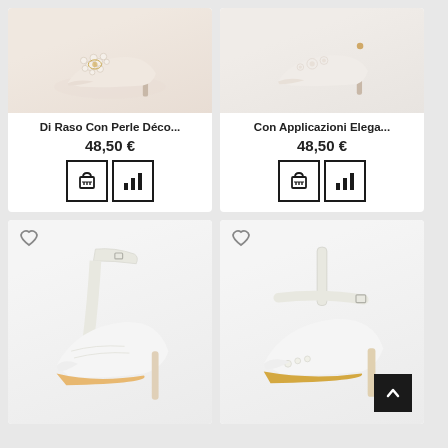[Figure (photo): Product card: white/cream pointed-toe satin heels with pearl decorations. Product name: Di Raso Con Perle Déco... Price: 48,50 €. Add to cart and compare buttons shown.]
[Figure (photo): Product card: cream/nude pointed-toe satin heels with floral appliqués. Product name: Con Applicazioni Elega... Price: 48,50 €. Add to cart and compare buttons shown.]
[Figure (photo): Product card: white lace platform heels with ankle strap. Heart/wishlist icon visible. Bottom of card visible, image cropped.]
[Figure (photo): Product card: white satin T-strap heels with pearl details. Heart/wishlist icon visible. Back-to-top button overlay at bottom right. Image cropped.]